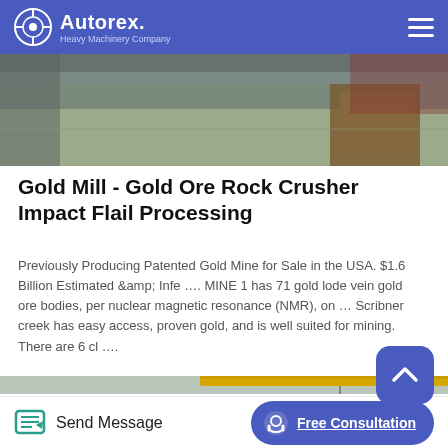Autorex Heavy Machinery Company
[Figure (photo): Warehouse/industrial interior floor photo with wooden crates and machinery in background]
Gold Mill - Gold Ore Rock Crusher Impact Flail Processing
Previously Producing Patented Gold Mine for Sale in the USA. $1.6 Billion Estimated &amp; Infe …. MINE 1 has 71 gold lode vein gold ore bodies, per nuclear magnetic resonance (NMR), on … Scribner creek has easy access, proven gold, and is well suited for mining. There are 6 cl ….
[Figure (photo): Industrial building interior with yellow overhead crane beam]
Send Message  Free Consultation